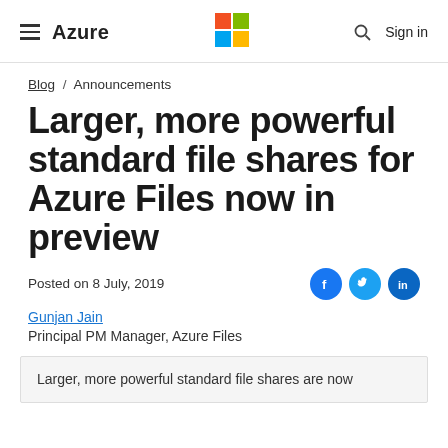≡ Azure | Microsoft logo | 🔍 Sign in
Blog / Announcements
Larger, more powerful standard file shares for Azure Files now in preview
Posted on 8 July, 2019
Gunjan Jain
Principal PM Manager, Azure Files
Larger, more powerful standard file shares are now